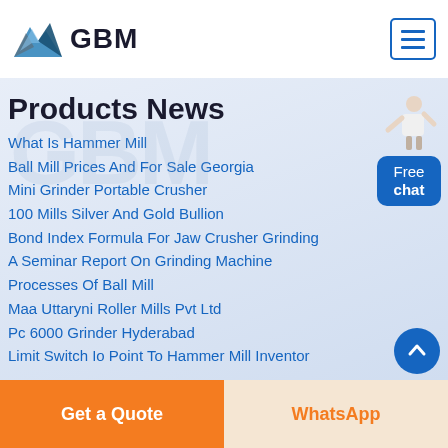[Figure (logo): GBM logo with blue mountain/arrow graphic and bold GBM text]
Products News
What Is Hammer Mill
Ball Mill Prices And For Sale Georgia
Mini Grinder Portable Crusher
100 Mills Silver And Gold Bullion
Bond Index Formula For Jaw Crusher Grinding
A Seminar Report On Grinding Machine
Processes Of Ball Mill
Maa Uttaryni Roller Mills Pvt Ltd
Pc 6000 Grinder Hyderabad
Limit Switch Io Point To Hammer Mill Inventor